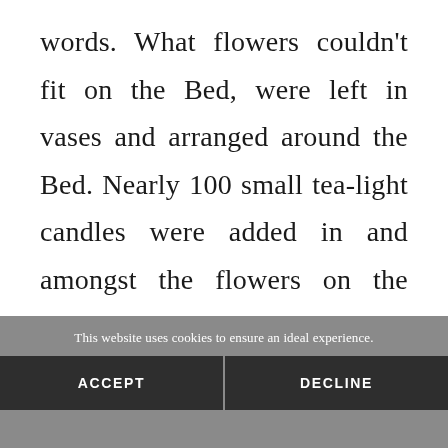words. What flowers couldn't fit on the Bed, were left in vases and arranged around the Bed. Nearly 100 small tea-light candles were added in and amongst the flowers on the Bed. When it was finished, the whole room was breathtaking. And as A
This website uses cookies to ensure an ideal experience.
ACCEPT
DECLINE